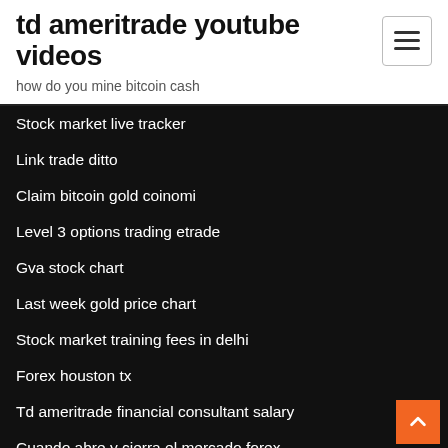td ameritrade youtube videos
how do you mine bitcoin cash
Stock market live tracker
Link trade ditto
Claim bitcoin gold coinomi
Level 3 options trading etrade
Gva stock chart
Last week gold price chart
Stock market training fees in delhi
Forex houston tx
Td ameritrade financial consultant salary
Cuando abre y cierra el mercado forex